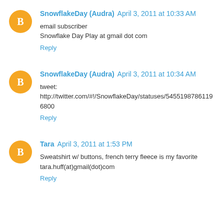SnowflakeDay (Audra) April 3, 2011 at 10:33 AM
email subscriber
Snowflake Day Play at gmail dot com
Reply
SnowflakeDay (Audra) April 3, 2011 at 10:34 AM
tweet:
http://twitter.com/#!/SnowflakeDay/statuses/54551987861196800
Reply
Tara April 3, 2011 at 1:53 PM
Sweatshirt w/ buttons, french terry fleece is my favorite
tara.huff(at)gmail(dot)com
Reply